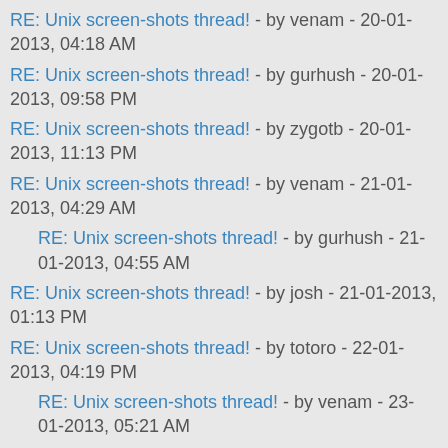RE: Unix screen-shots thread! - by venam - 20-01-2013, 04:18 AM
RE: Unix screen-shots thread! - by gurhush - 20-01-2013, 09:58 PM
RE: Unix screen-shots thread! - by zygotb - 20-01-2013, 11:13 PM
RE: Unix screen-shots thread! - by venam - 21-01-2013, 04:29 AM
RE: Unix screen-shots thread! - by gurhush - 21-01-2013, 04:55 AM
RE: Unix screen-shots thread! - by josh - 21-01-2013, 01:13 PM
RE: Unix screen-shots thread! - by totoro - 22-01-2013, 04:19 PM
RE: Unix screen-shots thread! - by venam - 23-01-2013, 05:21 AM
RE: Unix screen-shots thread! - by totoro - 23-01-2013, 12:46 PM
RE: Unix screen-shots thread! - by OpenSource - 25-01-2013, 10:54 AM
RE: Unix screen-shots thread! - by fb0x - 26-01-2013, 09:08 AM
RE: Unix screen-shots thread! - by OpenSource - 26-01-2013,